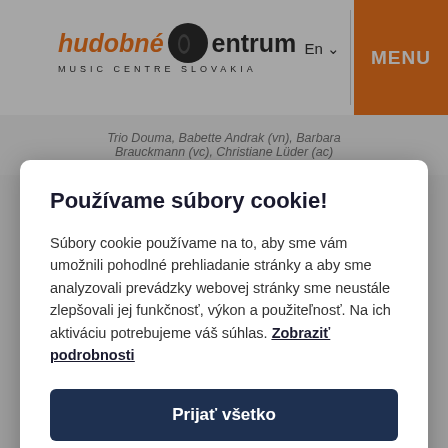hudobné centrum MUSIC CENTRE SLOVAKIA | En | MENU
Trio Douma; Babette Andrak (vn); Barbara Brauckmann (vc), Christiane Lüder (ac)
Používame súbory cookie!
Súbory cookie používame na to, aby sme vám umožnili pohodlné prehliadanie stránky a aby sme analyzovali prevádzky webovej stránky sme neustále zlepšovali jej funkčnosť, výkon a použiteľnosť. Na ich aktiváciu potrebujeme váš súhlas. Zobraziť podrobnosti
Prijať všetko
Odmietnuť všetky